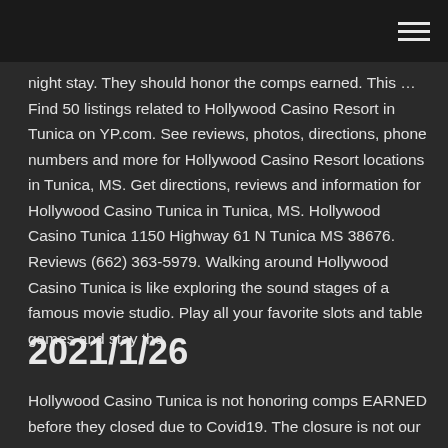night stay. They should honor the comps earned. This … Find 50 listings related to Hollywood Casino Resort in Tunica on YP.com. See reviews, photos, directions, phone numbers and more for Hollywood Casino Resort locations in Tunica, MS. Get directions, reviews and information for Hollywood Casino Tunica in Tunica, MS. Hollywood Casino Tunica 1150 Highway 61 N Tunica MS 38676. Reviews (662) 363-5979. Walking around Hollywood Casino Tunica is like exploring the sound stages of a famous movie studio. Play all your favorite slots and table games and stay the
2021/1/26
Hollywood Casino Tunica is not honoring comps EARNED before they closed due to Covid19. The closure is not our